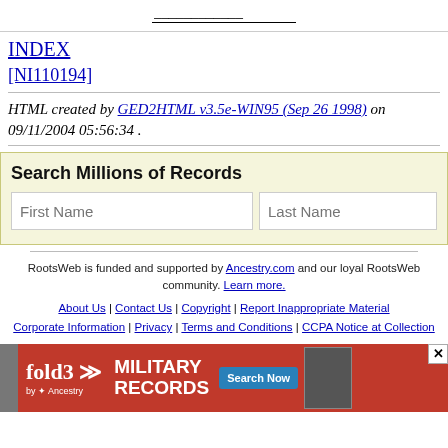[input field at top]
INDEX
[NI110194]
HTML created by GED2HTML v3.5e-WIN95 (Sep 26 1998) on 09/11/2004 05:56:34 .
[Figure (screenshot): Search Millions of Records form with First Name and Last Name input fields on a light yellow background]
RootsWeb is funded and supported by Ancestry.com and our loyal RootsWeb community. Learn more.
About Us | Contact Us | Copyright | Report Inappropriate Material Corporate Information | Privacy | Terms and Conditions | CCPA Notice at Collection
[Figure (screenshot): fold3 Military Records advertisement banner with Search Now button]